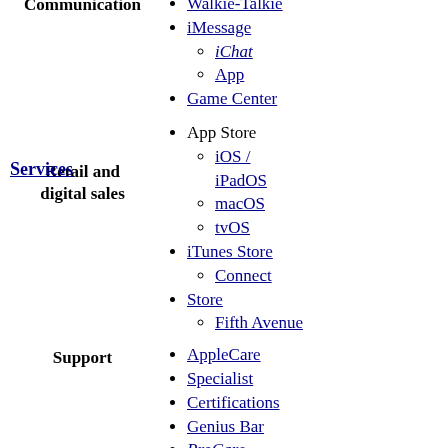Walkie-Talkie (link)
iMessage (link)
iChat (sub-item, italic link)
App (sub-item, link)
Game Center (link)
Communication (category label, bold)
Services (bold link, left column)
Retail and digital sales (category label, bold)
App Store
iOS / iPadOS (sub-item, link)
macOS (sub-item, link)
tvOS (sub-item, link)
iTunes Store (link)
Connect (sub-item, link)
Store (link)
Fifth Avenue (sub-item, link)
Support (category label, bold)
AppleCare (link)
Specialist (link)
Certifications (link)
Genius Bar (link)
ProCare (italic link)
One to One (italic link)
ID (link)
Sign in with (sub-item, link)